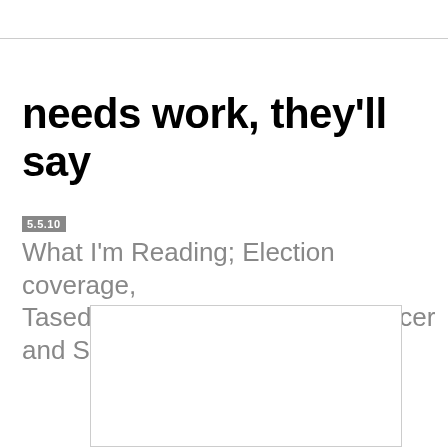needs work, they'll say
5.5.10
What I'm Reading; Election coverage, Tased Fans, Pure-Bred Dog Cancer and Spiderman!
[Figure (other): White rectangular image placeholder with light gray border]